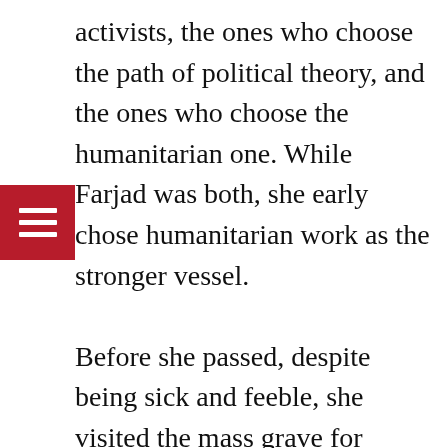activists, the ones who choose the path of political theory, and the ones who choose the humanitarian one. While Farjad was both, she early chose humanitarian work as the stronger vessel. Before she passed, despite being sick and feeble, she visited the mass grave for political prisoners where her brother lays and said she was on her way to join them. Farjad's modesty was partially strategic as well. After being monitored by government for decades, she knew it was best to keep a low profile. Most recently, after the 2009 protests, authorities re-opened her case, sending Farjad into hiding for about a year, until the movement